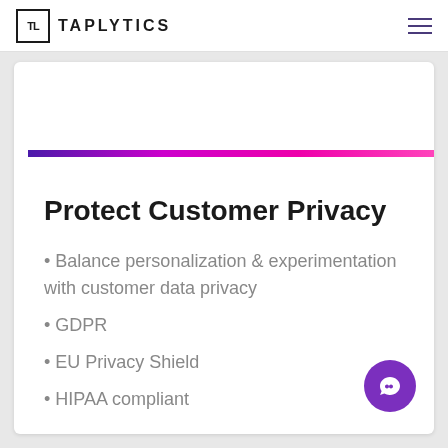TL TAPLYTICS
Protect Customer Privacy
Balance personalization & experimentation with customer data privacy
GDPR
EU Privacy Shield
HIPAA compliant